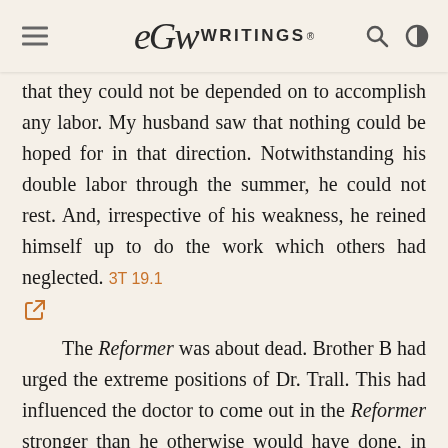EGW WRITINGS®
that they could not be depended on to accomplish any labor. My husband saw that nothing could be hoped for in that direction. Notwithstanding his double labor through the summer, he could not rest. And, irrespective of his weakness, he reined himself up to do the work which others had neglected. 3T 19.1
The Reformer was about dead. Brother B had urged the extreme positions of Dr. Trall. This had influenced the doctor to come out in the Reformer stronger than he otherwise would have done, in discarding milk, sugar, and salt. The position to entirely discontinue the use of these things may be right in its order; but the time had not come to take a general stand upon these points. And those who do